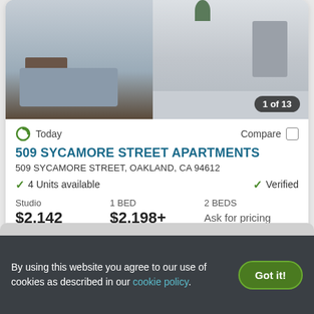[Figure (photo): Apartment interior showing bedroom on the left and kitchen on the right with stainless steel appliances. Badge shows '1 of 13'.]
Today
Compare
509 SYCAMORE STREET APARTMENTS
509 SYCAMORE STREET, OAKLAND, CA 94612
4 Units available
Verified
| Studio | 1 BED | 2 BEDS |
| --- | --- | --- |
| $2,142 | $2,198+ | Ask for pricing |
View Details
Contact Property
By using this website you agree to our use of cookies as described in our cookie policy.
Got it!